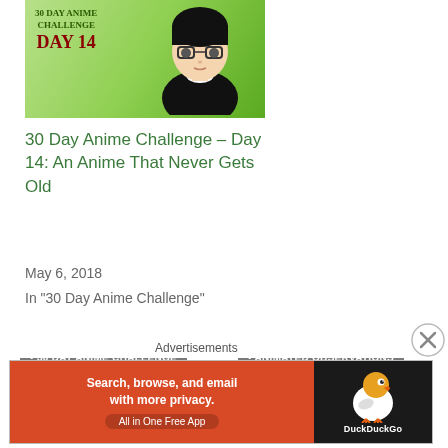[Figure (illustration): 30 Day Anime Challenge Day 14 blog post thumbnail with green background and anime character with glasses]
30 Day Anime Challenge – Day 14: An Anime That Never Gets Old
May 6, 2018
In "30 Day Anime Challenge"
30 DAY ANIME CHALLENGE
ANIMATED OBSERVATIONS
ANIME/MANGA
BLEACH
DAY THREE
WELCOME
PREVIOUS POST
30 Day Anime Challenge Two: Day Two
Advertisements
[Figure (photo): DuckDuckGo advertisement banner: Search, browse, and email with more privacy. All in One Free App]